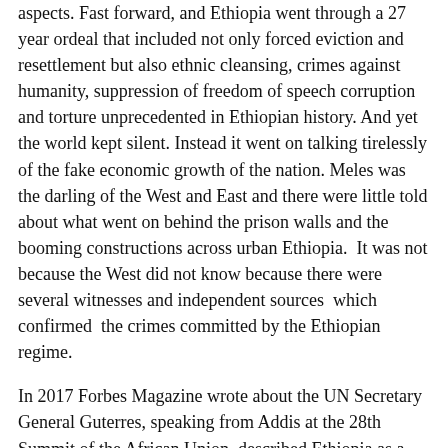aspects. Fast forward, and Ethiopia went through a 27 year ordeal that included not only forced eviction and resettlement but also ethnic cleansing, crimes against humanity, suppression of freedom of speech corruption and torture unprecedented in Ethiopian history. And yet the world kept silent. Instead it went on talking tirelessly of the fake economic growth of the nation. Meles was the darling of the West and East and there were little told about what went on behind the prison walls and the booming constructions across urban Ethiopia.  It was not because the West did not know because there were several witnesses and independent sources  which confirmed  the crimes committed by the Ethiopian regime.
In 2017 Forbes Magazine wrote about the UN Secretary General Guterres, speaking from Addis at the 28th Summit of the African Union, described Ethiopia as a “pillar of stability” in the tumultuous Horn of Africa, praised the government of Ethiopia and asked the world to show “total solidarity” with the regime. This was being said as the economy of Ethiopia was collapsing under the weight of its own corruption and the wide spread anger and rebellion of the people.
Forbes (the global media company) asks: “Why, despite ever-increasing amounts of foreign support, can’t this nation of 100 million clever, enterprising people feed itself? Other resources poor...